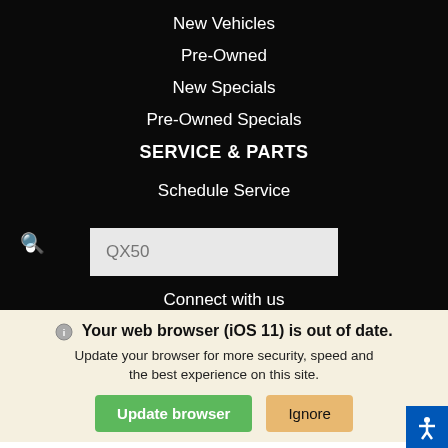New Vehicles
Pre-Owned
New Specials
Pre-Owned Specials
SERVICE & PARTS
Schedule Service
[Figure (screenshot): Search input box with placeholder text QX50 and magnifying glass icon]
Connect with us
[Figure (infographic): Social media icons: Facebook, Twitter, Instagram, Yelp]
CONTACT US · ACCESSIBILITY · PRIVACY POLICY · SITE MAP DO NOT SELL MY PERSONAL INFORMATION · COPYRIGHT &
Your web browser (iOS 11) is out of date. Update your browser for more security, speed and the best experience on this site.
Update browser   Ignore